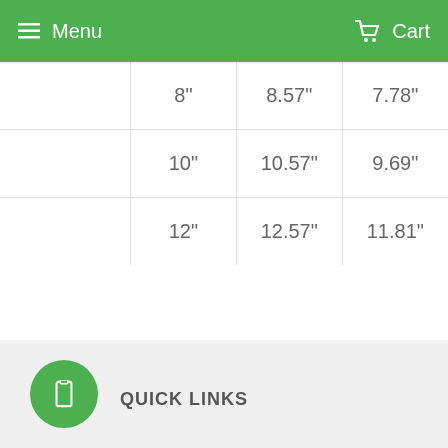Menu  Cart
|  |  |  |
| --- | --- | --- |
| 8" | 8.57" | 7.78" |
| 10" | 10.57" | 9.69" |
| 12" | 12.57" | 11.81" |
Share
Tweet
Pin it
Fancy
g+ +1
QUICK LINKS